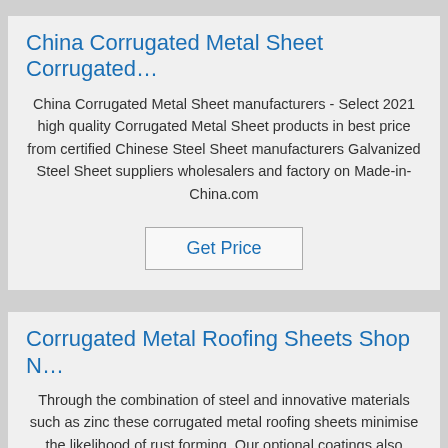China Corrugated Metal Sheet Corrugated…
China Corrugated Metal Sheet manufacturers - Select 2021 high quality Corrugated Metal Sheet products in best price from certified Chinese Steel Sheet manufacturers Galvanized Steel Sheet suppliers wholesalers and factory on Made-in-China.com
Get Price
Corrugated Metal Roofing Sheets Shop N…
Through the combination of steel and innovative materials such as zinc these corrugated metal roofing sheets minimise the likelihood of rust forming. Our optional coatings also provide added protection from the elements with our PVC coating extending the lifespan of your roofing sheet by up to 10 years.